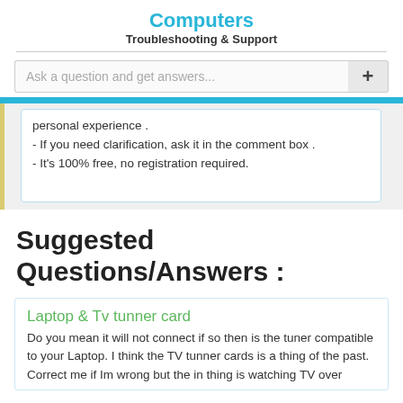Computers
Troubleshooting & Support
personal experience .
- If you need clarification, ask it in the comment box .
- It's 100% free, no registration required.
Suggested Questions/Answers :
Laptop & Tv tunner card
Do you mean it will not connect if so then is the tuner compatible to your Laptop. I think the TV tunner cards is a thing of the past. Correct me if Im wrong but the in thing is watching TV over...